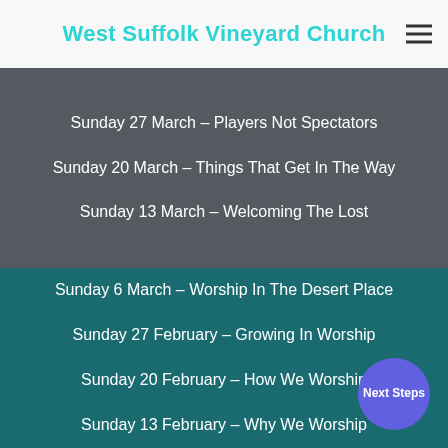West Suffolk Vineyard Church
Sunday 27 March – Players Not Spectators
Sunday 20 March – Things That Get In The Way
Sunday 13 March – Welcoming The Lost
Sunday 6 March – Worship In The Desert Place
Sunday 27 February – Growing In Worship
Sunday 20 February – How We Worship
Sunday 13 February – Why We Worship